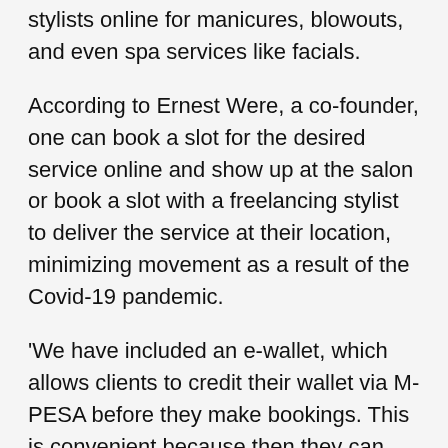stylists online for manicures, blowouts, and even spa services like facials.
According to Ernest Were, a co-founder, one can book a slot for the desired service online and show up at the salon or book a slot with a freelancing stylist to deliver the service at their location, minimizing movement as a result of the Covid-19 pandemic.
‘We have included an e-wallet, which allows clients to credit their wallet via M-PESA before they make bookings. This is convenient because then they can always book a service at a later date without the worry of spending the set money for grooming on other things,” Were explained.
Saspacity was started to help hairstylists in Kenya, most of whom may not be tech-savvy, don’t have adequate access to schedule management, custom statistics, and